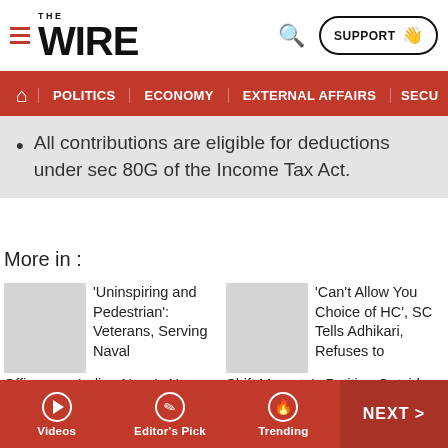THE WIRE — SUPPORT — navigation header with search
POLITICS | ECONOMY | EXTERNAL AFFAIRS | SECU...
All contributions are eligible for deductions under sec 80G of the Income Tax Act.
More in :
'Uninspiring and Pedestrian': Veterans, Serving Naval Officers on Indian Navy's New Ensign
'Can't Allow You Choice of HC', SC Tells Adhikari, Refuses to Shift Mamata's Petition Outside WB
WhatsApp
'Sack Delhi
Videos | Editor's Pick | Trending | NEXT >